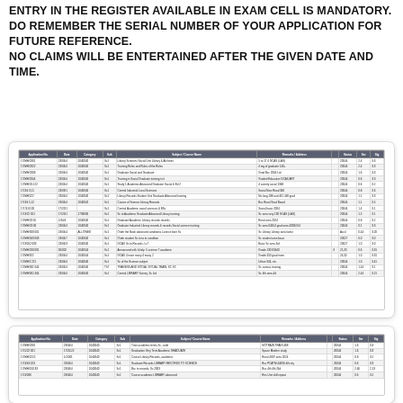ENTRY IN THE REGISTER AVAILABLE IN EXAM CELL IS MANDATORY.
DO REMEMBER THE SERIAL NUMBER OF YOUR APPLICATION FOR FUTURE REFERENCE.
NO CLAIMS WILL BE ENTERTAINED AFTER THE GIVEN DATE AND TIME.
[Figure (screenshot): A screenshot of a spreadsheet/register table with multiple columns showing application data including serial numbers, dates, names, and other fields. The table has a dark grey header row and alternating row colors.]
[Figure (screenshot): A second screenshot of a similar spreadsheet/register table with the same column structure, partially visible, showing additional application entries.]